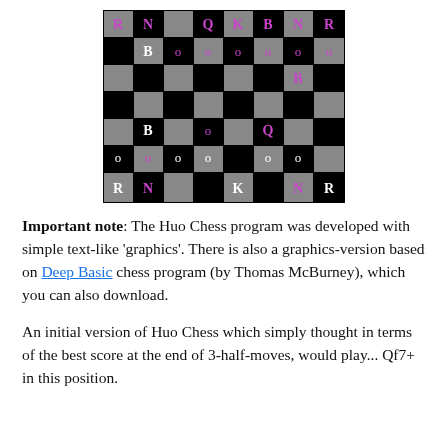[Figure (other): A chess board diagram showing a mid-game position with pieces represented as text characters on alternating black and grey squares. Purple pieces for one side (R, N, Q, K, B, N, R) and white pieces for the other side, with pawns shown as 'o' or 'O'.]
Important note: The Huo Chess program was developed with simple text-like 'graphics'. There is also a graphics-version based on Deep Basic chess program (by Thomas McBurney), which you can also download.
An initial version of Huo Chess which simply thought in terms of the best score at the end of 3-half-moves, would play... Qf7+ in this position.